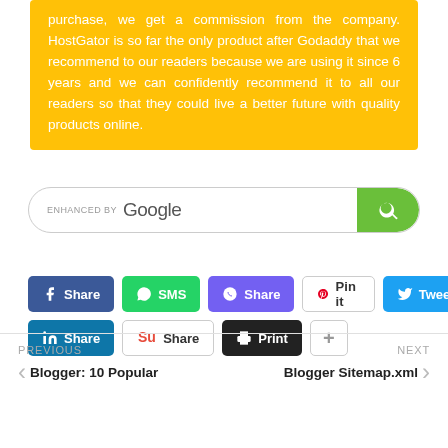purchase, we get a commission from the company. HostGator is so far the only product after Godaddy that we recommend to our readers because we are using it since 6 years and we can confidently recommend it to all our readers so that they could live a better future with quality products online.
[Figure (screenshot): Google search bar with green search button]
[Figure (screenshot): Social share buttons: Facebook Share, WhatsApp SMS, Viber Share, Pinterest Pin it, Twitter Tweet, LinkedIn Share, StumbleUpon Share, Print, Plus]
PREVIOUS
Blogger: 10 Popular
NEXT
Blogger Sitemap.xml